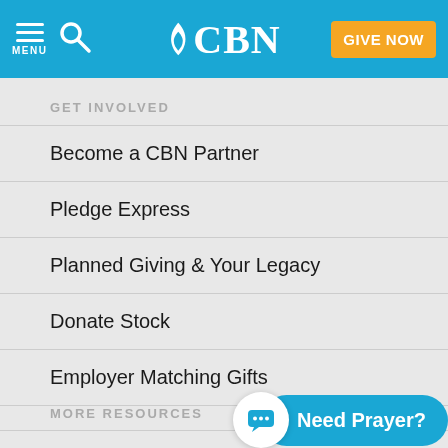[Figure (logo): CBN website header with menu icon, search icon, CBN logo, and orange GIVE NOW button on blue background]
GET INVOLVED
Become a CBN Partner
Pledge Express
Planned Giving & Your Legacy
Donate Stock
Employer Matching Gifts
MORE RESOURCES
Shop CBN
Bible
[Figure (infographic): Need Prayer? chat button with chat bubble icon on blue pill-shaped background]